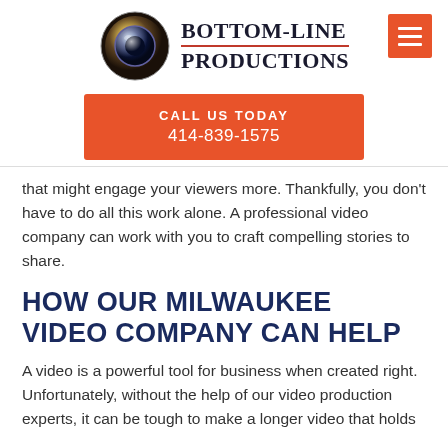[Figure (logo): Bottom-Line Productions logo with camera lens icon and brand name in serif bold uppercase text with a red underline accent]
CALL US TODAY
414-839-1575
that might engage your viewers more. Thankfully, you don't have to do all this work alone. A professional video company can work with you to craft compelling stories to share.
HOW OUR MILWAUKEE VIDEO COMPANY CAN HELP
A video is a powerful tool for business when created right. Unfortunately, without the help of our video production experts, it can be tough to make a longer video that holds